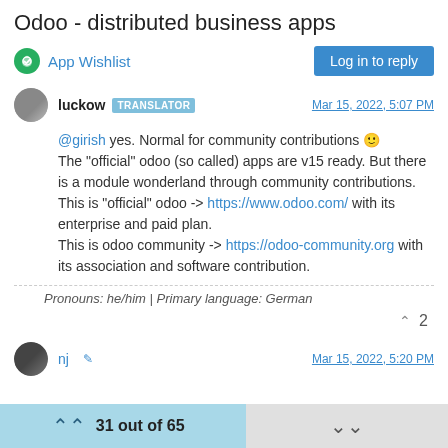Odoo - distributed business apps
App Wishlist
Log in to reply
luckow TRANSLATOR  Mar 15, 2022, 5:07 PM
@girish yes. Normal for community contributions 🙂
The "official" odoo (so called) apps are v15 ready. But there is a module wonderland through community contributions.
This is "official" odoo -> https://www.odoo.com/ with its enterprise and paid plan.
This is odoo community -> https://odoo-community.org with its association and software contribution.
Pronouns: he/him | Primary language: German
2
nj  Mar 15, 2022, 5:20 PM
31 out of 65